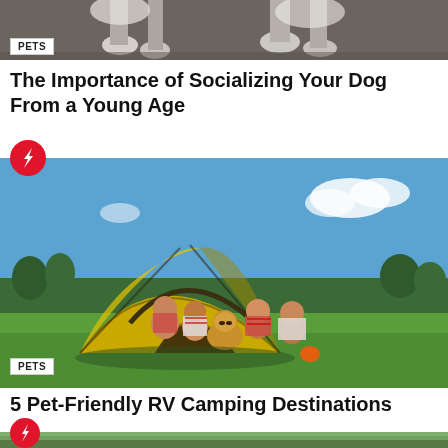[Figure (photo): Top partial image of dogs on pavement]
PETS
The Importance of Socializing Your Dog From a Young Age
[Figure (photo): Family with children and a dog inside a yellow camping tent on green grass with blue sky]
PETS
5 Pet-Friendly RV Camping Destinations
[Figure (photo): Partial bottom image of trees/nature scene for third article]